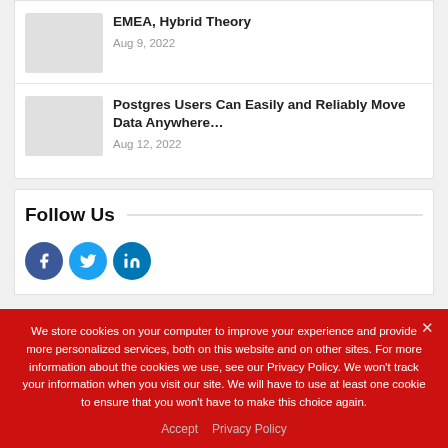[Figure (photo): Thumbnail image placeholder (gray rectangle) for first article]
EMEA, Hybrid Theory
Aug 9, 2022
[Figure (photo): Thumbnail image placeholder (gray rectangle) for second article]
Postgres Users Can Easily and Reliably Move Data Anywhere…
Aug 12, 2022
Follow Us
[Figure (other): Social media icons: Facebook, Twitter, LinkedIn circles]
We store cookies on your computer to improve your experience and provide more personalized services, both on this website and on other sites. For more information about the cookies we use, see our Privacy Policy. We won't track your information when you visit our site. We will have to use at least one cookie to ensure that you won't have to make this choice again.
Accept   Privacy Policy